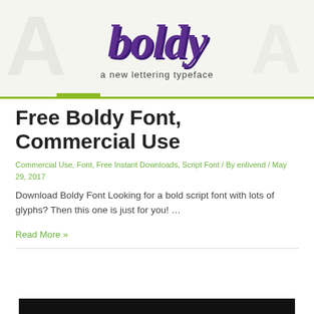[Figure (illustration): Boldy script font logo in purple with text 'a new lettering typeface' on a light beige background with decorative large letter watermarks and a green underline bar]
Free Boldy Font, Commercial Use
Commercial Use, Font, Free Instant Downloads, Script Font / By enlivend / May 29, 2017
Download Boldy Font Looking for a bold script font with lots of glyphs? Then this one is just for you! ...
Read More »